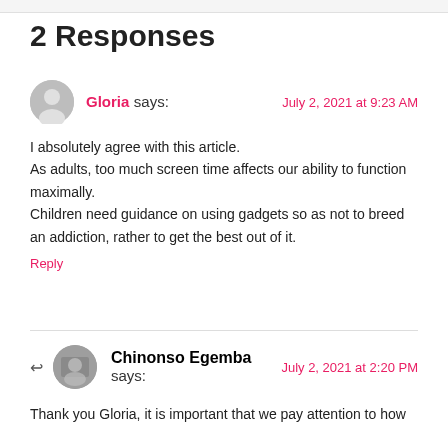2 Responses
Gloria says:
July 2, 2021 at 9:23 AM

I absolutely agree with this article.
As adults, too much screen time affects our ability to function maximally.
Children need guidance on using gadgets so as not to breed an addiction, rather to get the best out of it.

Reply
Chinonso Egemba says:
July 2, 2021 at 2:20 PM

Thank you Gloria, it is important that we pay attention to how